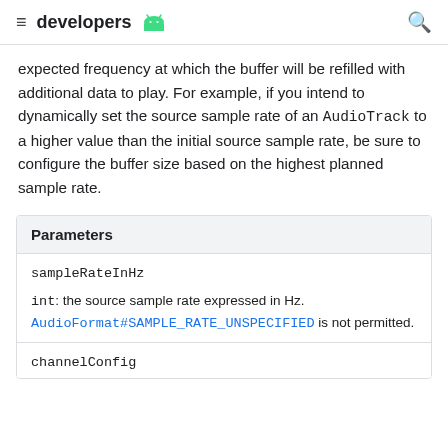developers
expected frequency at which the buffer will be refilled with additional data to play. For example, if you intend to dynamically set the source sample rate of an AudioTrack to a higher value than the initial source sample rate, be sure to configure the buffer size based on the highest planned sample rate.
| Parameters |
| --- |
| sampleRateInHz | int: the source sample rate expressed in Hz. AudioFormat#SAMPLE_RATE_UNSPECIFIED is not permitted. |
| channelConfig |  |